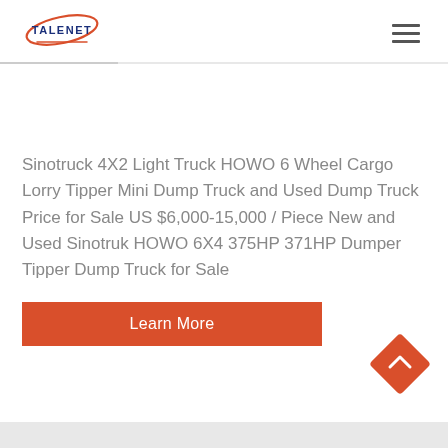TALENET
Sinotruck 4X2 Light Truck HOWO 6 Wheel Cargo Lorry Tipper Mini Dump Truck and Used Dump Truck Price for Sale US $6,000-15,000 / Piece New and Used Sinotruk HOWO 6X4 375HP 371HP Dumper Tipper Dump Truck for Sale
Learn More